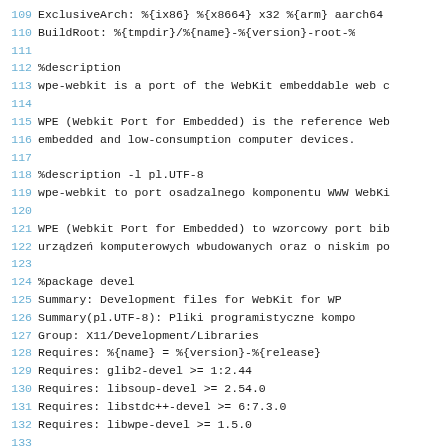Code listing lines 109-133 showing RPM spec file content including ExclusiveArch, BuildRoot, %description, %description -l pl.UTF-8, and %package devel sections